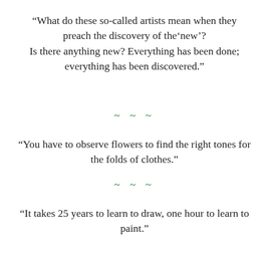“What do these so-called artists mean when they preach the discovery of the‘new’? Is there anything new? Everything has been done; everything has been discovered.”
~ ~ ~
“You have to observe flowers to find the right tones for the folds of clothes.”
~ ~ ~
“It takes 25 years to learn to draw, one hour to learn to paint.”